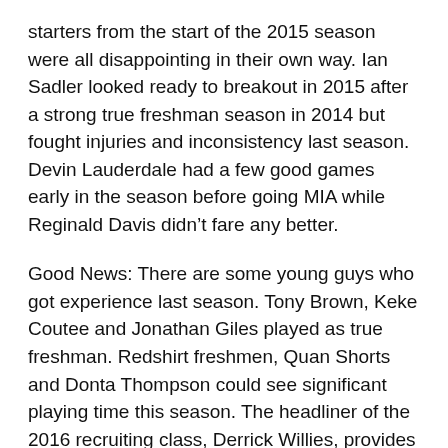starters from the start of the 2015 season were all disappointing in their own way. Ian Sadler looked ready to breakout in 2015 after a strong true freshman season in 2014 but fought injuries and inconsistency last season. Devin Lauderdale had a few good games early in the season before going MIA while Reginald Davis didn't fare any better.
Good News: There are some young guys who got experience last season. Tony Brown, Keke Coutee and Jonathan Giles played as true freshman. Redshirt freshmen, Quan Shorts and Donta Thompson could see significant playing time this season. The headliner of the 2016 recruiting class, Derrick Willies, provides size at the outside WR position as well as D1 experience from his year spent at the University of Iowa. Outside of those guys, Dylan Cantrell returns from an injury after missing the 2015 season. This time last year the some Red Raider coaches